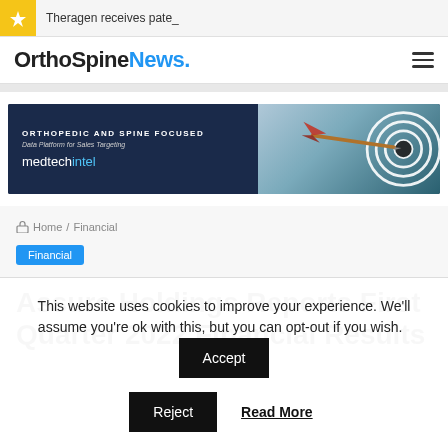Theragen receives pate_
[Figure (logo): OrthoSpineNews. logo with blue 'News.' portion and hamburger menu icon]
[Figure (infographic): medtechintel advertisement banner: 'ORTHOPEDIC AND SPINE FOCUSED Data Platform for Sales Targeting medtechintel' with dart hitting bullseye target image on right side]
Home / Financial
Financial
Assure Holdings Reports First Quarter 2022 Financial Results
This website uses cookies to improve your experience. We'll assume you're ok with this, but you can opt-out if you wish.
Accept
Reject
Read More